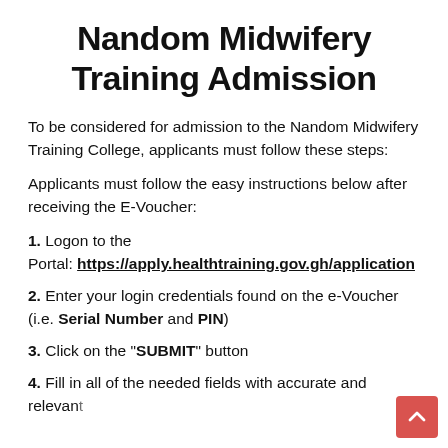Nandom Midwifery Training Admission
To be considered for admission to the Nandom Midwifery Training College, applicants must follow these steps:
Applicants must follow the easy instructions below after receiving the E-Voucher:
1. Logon to the Portal: https://apply.healthtraining.gov.gh/application
2. Enter your login credentials found on the e-Voucher (i.e. Serial Number and PIN)
3. Click on the "SUBMIT" button
4. Fill in all of the needed fields with accurate and relevant